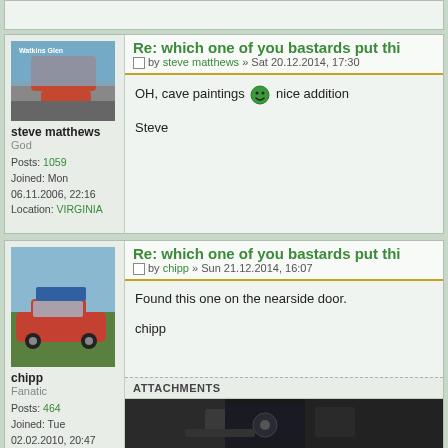Re: which one of you bastards put thi
by steve matthews » Sat 20.12.2014, 17:30
OH, cave paintings nice addition

Steve
steve matthews
God
Posts: 1059
Joined: Mon 06.11.2006, 22:16
Location: VIRGINIA
Re: which one of you bastards put thi
by chipp » Sun 21.12.2014, 16:07
Found this one on the nearside door.

chipp
chipp
Fanatic
Posts: 464
Joined: Tue 02.02.2010, 20:47
Location: Wymondham nr
ATTACHMENTS
[Figure (photo): Partial view of a dark mechanical/engine component, close-up photo]